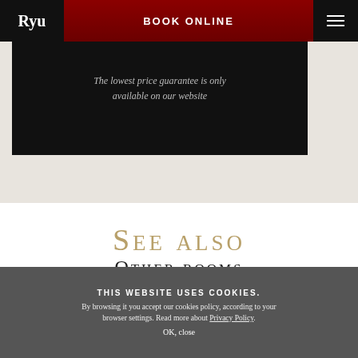Ryu | BOOK ONLINE
[Figure (photo): Dark hotel room or bar interior photo with text overlay: The lowest price guarantee is only available on our website]
The lowest price guarantee is only available on our website
See also
Other rooms
THIS WEBSITE USES COOKIES. By browsing it you accept our cookies policy, according to your browser settings. Read more about Privacy Policy. OK, close